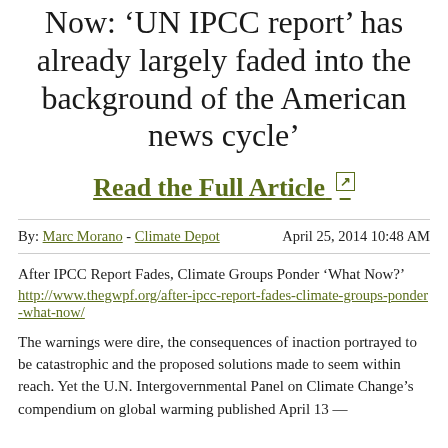Now: 'UN IPCC report has already largely faded into the background of the American news cycle'
Read the Full Article ↗
By: Marc Morano - Climate Depot    April 25, 2014 10:48 AM
After IPCC Report Fades, Climate Groups Ponder 'What Now?'
http://www.thegwpf.org/after-ipcc-report-fades-climate-groups-ponder-what-now/
The warnings were dire, the consequences of inaction portrayed to be catastrophic and the proposed solutions made to seem within reach. Yet the U.N. Intergovernmental Panel on Climate Change's compendium on global warming published April 13 —